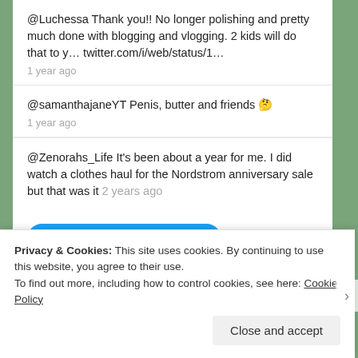@Luchessa Thank you!! No longer polishing and pretty much done with blogging and vlogging. 2 kids will do that to y… twitter.com/i/web/status/1…
1 year ago
@samanthajaneYT Penis, butter and friends 🤔
1 year ago
@Zenorahs_Life It's been about a year for me. I did watch a clothes haul for the Nordstrom anniversary sale but that was it 2 years ago
[Figure (other): Twitter Follow button for @mshollyberries with Twitter bird icon]
Privacy & Cookies: This site uses cookies. By continuing to use this website, you agree to their use.
To find out more, including how to control cookies, see here: Cookie Policy
Close and accept